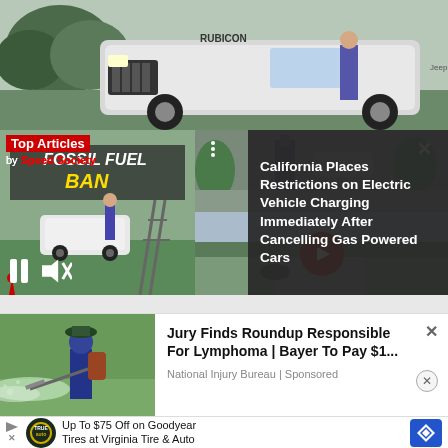[Figure (screenshot): Video player showing a Jeep Rubicon (top) and a fossil fuel ban protest scene with a white Jeep (bottom left). Overlaid with article thumbnail about California EV charging restrictions (right panel). Controls include pause and mute buttons.]
Top Articles
by Speed Society
California Places Restrictions on Electric Vehicle Charging Immediately After Cancelling Gas Powered Cars
[Figure (photo): Advertisement showing a person spraying herbicide/pesticide in a field, for a Roundup lymphoma lawsuit ad]
Jury Finds Roundup Responsible For Lymphoma | Bayer To Pay $1...
National Injury Bureau | Sponsored
Up To $75 Off on Goodyear Tires at Virginia Tire & Auto